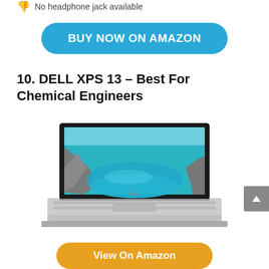No headphone jack available
BUY NOW ON AMAZON
10. DELL XPS 13 – Best For Chemical Engineers
[Figure (photo): Dell XPS 13 laptop open showing a scenic rocky river/water landscape on screen, silver keyboard visible below]
View On Amazon